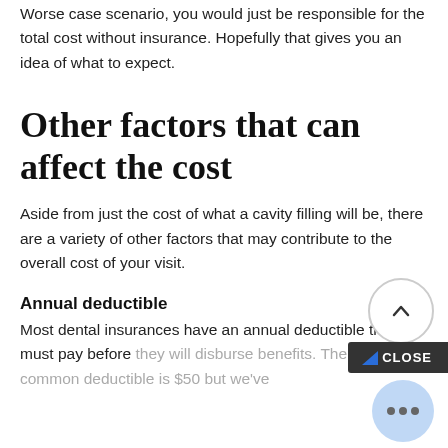Worse case scenario, you would just be responsible for the total cost without insurance. Hopefully that gives you an idea of what to expect.
Other factors that can affect the cost
Aside from just the cost of what a cavity filling will be, there are a variety of other factors that may contribute to the overall cost of your visit.
Annual deductible
Most dental insurances have an annual deductible that you must pay before they will disburse benefits. The most common deductible is $50 but we've